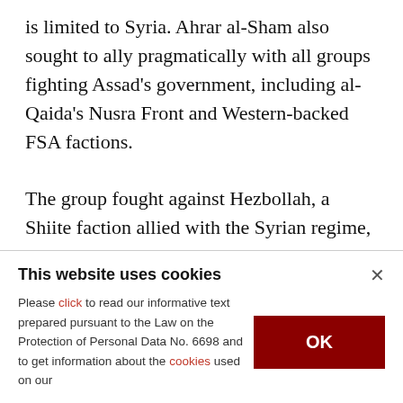is limited to Syria. Ahrar al-Sham also sought to ally pragmatically with all groups fighting Assad's government, including al-Qaida's Nusra Front and Western-backed FSA factions. The group fought against Hezbollah, a Shiite faction allied with the Syrian regime, although there was no anti-Shiite rhetoric at the beginning. Officials had vowed to protect minority rights including those of Christians and members of several other beliefs.
This website uses cookies
Please click to read our informative text prepared pursuant to the Law on the Protection of Personal Data No. 6698 and to get information about the cookies used on our